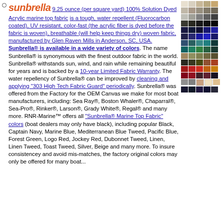9.25 ounce (per square yard) 100% Solution Dyed Acrylic marine top fabric is a tough, water repellent (Fluorocarbon coated), UV resistant, color-fast (the acrylic fiber is dyed before the fabric is woven), breathable (will help keep things dry) woven fabric, manufactured by Glen Raven Mills in Anderson, SC, USA. Sunbrella® is available in a wide variety of colors. The name Sunbrella® is synonymous with the finest outdoor fabric in the world. Sunbrella® withstands sun, wind, and rain while remaining beautiful for years and is backed by a 10-year Limited Fabric Warranty. The water repellency of Sunbrella® can be improved by cleaning and applying "303 High Tech Fabric Guard" periodically. Sunbrella® was offered from the Factory for the OEM Canvas we make for most boat manufacturers, including: Sea Ray®, Boston Whaler®, Chaparral®, Sea-Pro®, Rinker®, Larson®, Grady White®, Regal® and many more. RNR-Marine™ offers all "Sunbrella® Marine Top Fabric" colors (boat dealers may only have black), including popular Black, Captain Navy, Marine Blue, Mediterranean Blue Tweed, Pacific Blue, Forest Green, Logo Red, Jockey Red, Dubonnet Tweed, Linen, Linen Tweed, Toast Tweed, Silver, Beige and many more. To insure consistencey and avoid mis-matches, the factory original colors may only be offered for many boat...
[Figure (other): Grid of fabric color swatches showing various Sunbrella colors including whites, grays, blacks, navy, blues, greens, reds, and earth tones.]